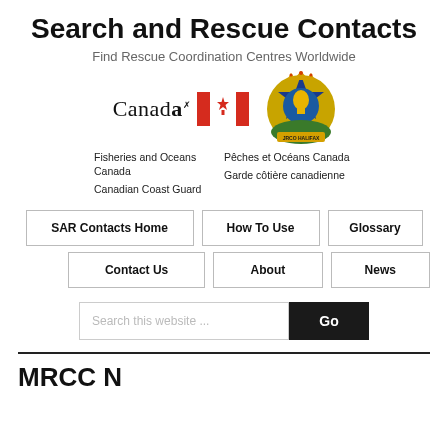Search and Rescue Contacts
Find Rescue Coordination Centres Worldwide
[Figure (logo): Canada wordmark with flag and JRCC Halifax badge]
Fisheries and Oceans Canada Canadian Coast Guard | Pêches et Océans Canada Garde côtière canadienne
SAR Contacts Home | How To Use | Glossary | Contact Us | About | News
Search this website ... Go
MRCC N...